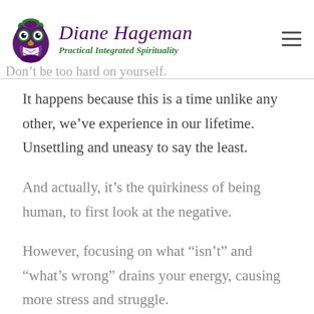what's wrong, rather than what's right, what is there. Awareness is there. What is there.
[Figure (logo): Diane Hageman owl logo with text 'Diane Hageman Practical Integrated Spirituality']
Don't be too hard on yourself.
It happens because this is a time unlike any other, we've experience in our lifetime. Unsettling and uneasy to say the least.
And actually, it's the quirkiness of being human, to first look at the negative.
However, focusing on what “isn't” and “what's wrong” drains your energy, causing more stress and struggle.